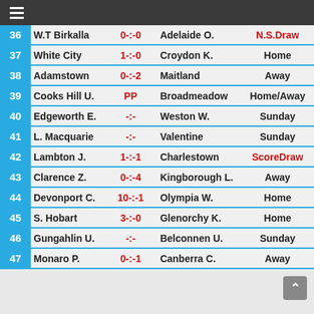☰
| # | Home | Score | Away | Result |
| --- | --- | --- | --- | --- |
| 36 | W.T Birkalla | 0-:-0 | Adelaide O. | N.S.Draw |
| 37 | White City | 1-:-0 | Croydon K. | Home |
| 38 | Adamstown | 0-:-2 | Maitland | Away |
| 39 | Cooks Hill U. | PP | Broadmeadow | Home/Away |
| 40 | Edgeworth E. | -:- | Weston W. | Sunday |
| 41 | L. Macquarie | -:- | Valentine | Sunday |
| 42 | Lambton J. | 1-:-1 | Charlestown | ScoreDraw |
| 43 | Clarence Z. | 0-:-4 | Kingborough L. | Away |
| 44 | Devonport C. | 10-:-1 | Olympia W. | Home |
| 45 | S. Hobart | 3-:-0 | Glenorchy K. | Home |
| 46 | Gungahlin U. | -:- | Belconnen U. | Sunday |
| 47 | Monaro P. | 0-:-1 | Canberra C. | Away |